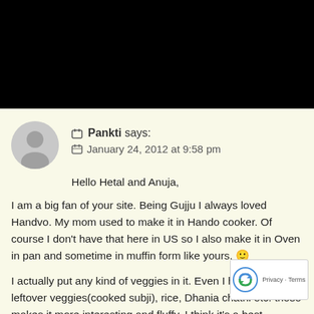[Figure (other): Black header bar at top of page]
Pankti says: January 24, 2012 at 9:58 pm
Hello Hetal and Anuja,
I am a big fan of your site. Being Gujju I always loved Handvo. My mom used to make it in Hando cooker. Of course I don't have that here in US so I also make it in Oven in pan and sometime in muffin form like yours. 🙂
I actually put any kind of veggies in it. Even I have tried leftover veggies(cooked subji), rice, Dhania chatni etc. these makes it more interesting and fluffy. I think it's a best…